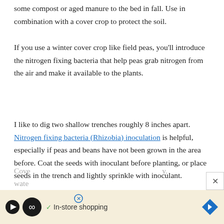some compost or aged manure to the bed in fall. Use in combination with a cover crop to protect the soil.
If you use a winter cover crop like field peas, you'll introduce the nitrogen fixing bacteria that help peas grab nitrogen from the air and make it available to the plants.
I like to dig two shallow trenches roughly 8 inches apart. Nitrogen fixing bacteria (Rhizobia) inoculation is helpful, especially if peas and beans have not been grown in the area before. Coat the seeds with inoculant before planting, or place seeds in the trench and lightly sprinkle with inoculant.
Cove... y. wate...
[Figure (screenshot): Advertisement overlay showing an infinity loop logo with play button, checkmark, 'In-store shopping' text, and a blue diamond navigation icon. A close (X) button appears in the top right of the ad.]